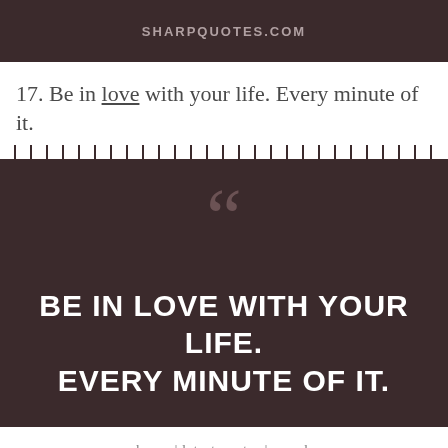SHARPQUOTES.COM
17. Be in love with your life. Every minute of it.
[Figure (infographic): Dark brown panel with torn paper top edge, large decorative opening quotation marks in muted rose-brown, and bold white uppercase text reading: BE IN LOVE WITH YOUR LIFE. EVERY MINUTE OF IT.]
home | latest quotes | search